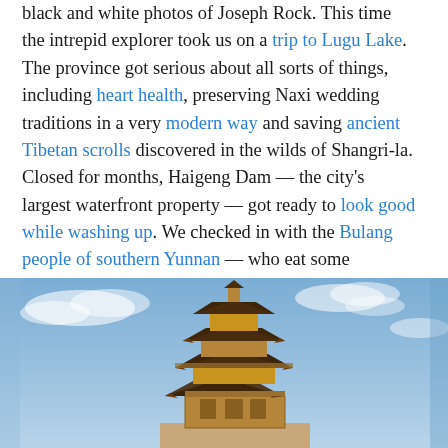black and white photos of Joseph Rock. This time the intrepid explorer took us on a trip to Lugu Lake. The province got serious about all sorts of things, including heart health, preserving Naxi wedding traditions in a very modern way and saving ancient Tibetan scrolls discovered in the wilds of Shangri-la. Closed for months, Haigeng Dam — the city's largest waterfront property — got ready to look good while washing up. We checked in with the Bulang people of southern Yunnan — who eat some delicious tea, by the way — and then it was time for a Happy Mid-Autumn Festival.
[Figure (photo): A traditional Chinese pagoda tower with multiple tiered roofs against a blue sky with clouds]